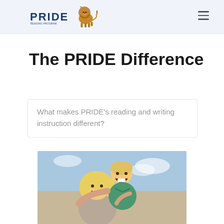PRIDE Reading Program
The PRIDE Difference
What makes PRIDE’s reading and writing instruction different?
[Figure (photo): Woman smiling with a laughing young boy on her back, outdoors with sky background]